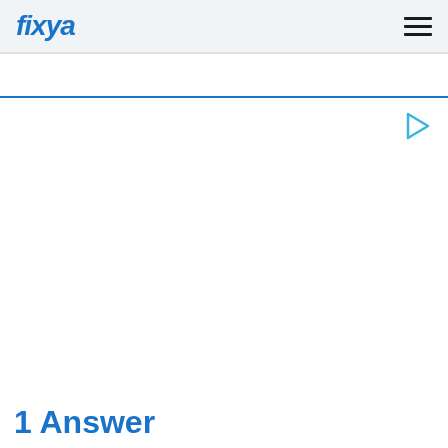fixya
[Figure (logo): Fixya logo in blue italic bold text with a play button triangle icon on the right side]
1 Answer